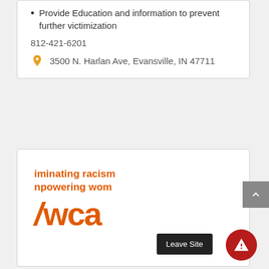Provide Education and information to prevent further victimization
812-421-6201
3500 N. Harlan Ave, Evansville, IN 47711
[Figure (logo): YWCA logo with taglines 'iminating racism' and 'npowering wom' in orange bold text, with the YWCA stylized logo mark]
Leave Site